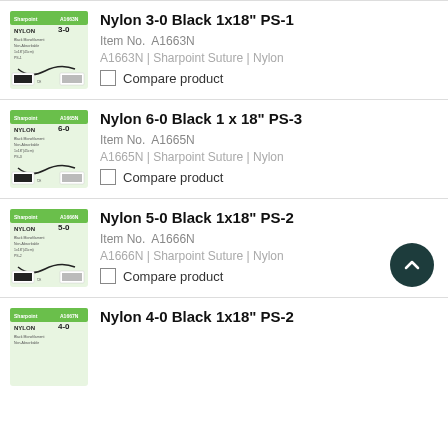[Figure (illustration): Sharpoint Nylon 3-0 Black suture product packaging image]
Nylon 3-0 Black 1x18" PS-1
Item No.  A1663N
A1663N | Sharpoint Suture | Nylon
Compare product
[Figure (illustration): Sharpoint Nylon 6-0 Black suture product packaging image]
Nylon 6-0 Black 1 x 18" PS-3
Item No.  A1665N
A1665N | Sharpoint Suture | Nylon
Compare product
[Figure (illustration): Sharpoint Nylon 5-0 Black suture product packaging image]
Nylon 5-0 Black 1x18" PS-2
Item No.  A1666N
A1666N | Sharpoint Suture | Nylon
Compare product
[Figure (illustration): Sharpoint Nylon 4-0 Black suture product packaging image]
Nylon 4-0 Black 1x18" PS-2